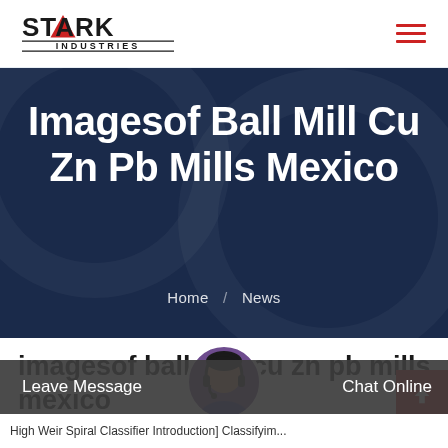STARK INDUSTRIES
Imagesof Ball Mill Cu Zn Pb Mills Mexico
Home / News
imagesof ball mill cu zn pb mills mexico
Leave Message   Chat Online
High Weir Spiral Classifier Introduction] Classifying...